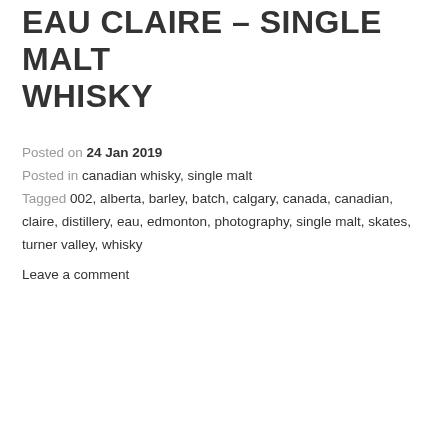EAU CLAIRE – SINGLE MALT WHISKY
Posted on 24 Jan 2019
Posted in canadian whisky, single malt
Tagged 002, alberta, barley, batch, calgary, canada, canadian, claire, distillery, eau, edmonton, photography, single malt, skates, turner valley, whisky
Leave a comment